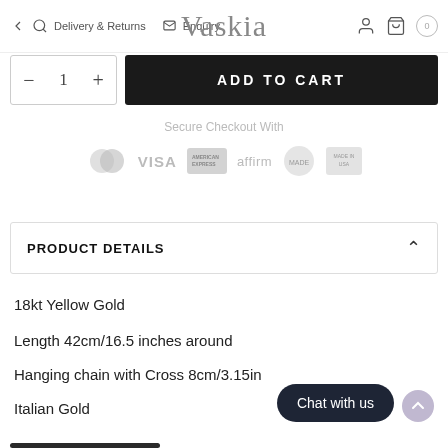Delivery & Returns  Enquiry  Vaskia
[Figure (screenshot): Add to cart UI with quantity selector (minus, 1, plus) and black ADD TO CART button]
[Figure (infographic): Secure Checkout With payment icons: Mastercard, Visa, American Express, Affirm, Made in USA badge, another badge]
PRODUCT DETAILS
18kt Yellow Gold
Length 42cm/16.5 inches around
Hanging chain with Cross 8cm/3.15in
Italian Gold